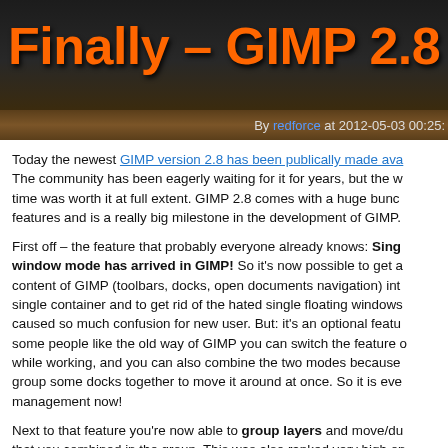Finally – GIMP 2.8 ha
By redforce at 2012-05-03 00:25:
Today the newest GIMP version 2.8 has been publically made ava... The community has been eagerly waiting for it for years, but the w... time was worth it at full extent. GIMP 2.8 comes with a huge bunc... features and is a really big milestone in the development of GIMP.
First off – the feature that probably everyone already knows: Single window mode has arrived in GIMP! So it's now possible to get a... content of GIMP (toolbars, docks, open documents navigation) int... single container and to get rid of the hated single floating windows... caused so much confusion for new user. But: it's an optional featu... some people like the old way of GIMP you can switch the feature o... while working, and you can also combine the two modes because... group some docks together to move it around at once. So it is eve... management now!
Next to that feature you're now able to group layers and move/du... that you combined in the group. This was also ranked very high on...
GIMP 2.8 comes with a extremely improved text tool, that works... characters/words of the text edit in various ways. Its somehow offi...